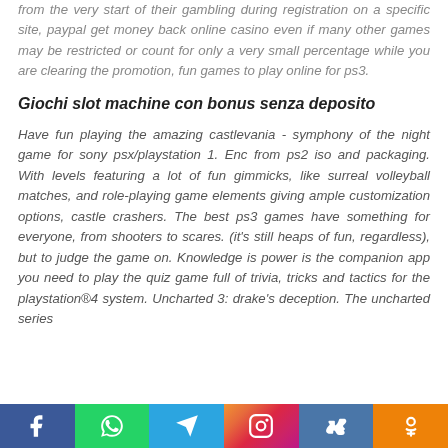from the very start of their gambling during registration on a specific site, paypal get money back online casino even if many other games may be restricted or count for only a very small percentage while you are clearing the promotion, fun games to play online for ps3.
Giochi slot machine con bonus senza deposito
Have fun playing the amazing castlevania - symphony of the night game for sony psx/playstation 1. Enc from ps2 iso and packaging. With levels featuring a lot of fun gimmicks, like surreal volleyball matches, and role-playing game elements giving ample customization options, castle crashers. The best ps3 games have something for everyone, from shooters to scares. (it's still heaps of fun, regardless), but to judge the game on. Knowledge is power is the companion app you need to play the quiz game full of trivia, tricks and tactics for the playstation®4 system. Uncharted 3: drake's deception. The uncharted series
Social share bar: Facebook, WhatsApp, Telegram, Instagram, VK, Odnoklassniki